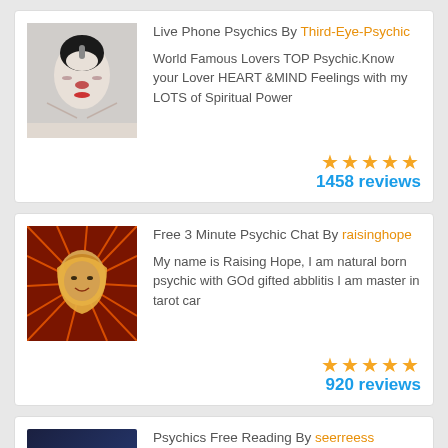Live Phone Psychics By Third-Eye-Psychic — World Famous Lovers TOP Psychic.Know your Lover HEART &MIND Feelings with my LOTS of Spiritual Power — 1458 reviews
Free 3 Minute Psychic Chat By raisinghope — My name is Raising Hope, I am natural born psychic with GOd gifted abblitis I am master in tarot car — 920 reviews
Psychics Free Reading By seerreess — Gifted clairvoyant...Shoot your questions